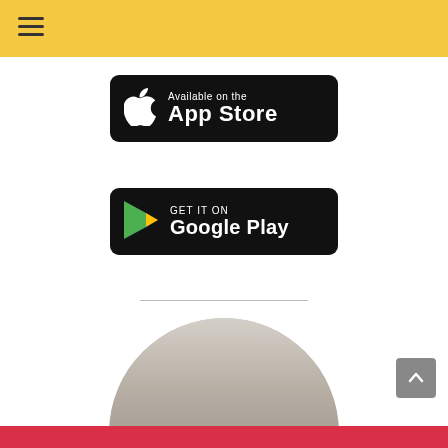[Figure (screenshot): Yellow navigation header bar with hamburger menu icon (three horizontal lines) on the left]
[Figure (screenshot): Apple App Store download button - black rounded rectangle with Apple logo and text 'Available on the App Store']
[Figure (screenshot): Google Play Store download button - black rounded rectangle with colorful Play triangle logo and text 'GET IT ON Google Play']
[Figure (photo): Circular cropped photo showing top of a person's head with white/grey hair, partially visible]
[Figure (screenshot): Grey scroll-to-top button with upward chevron arrow in bottom right]